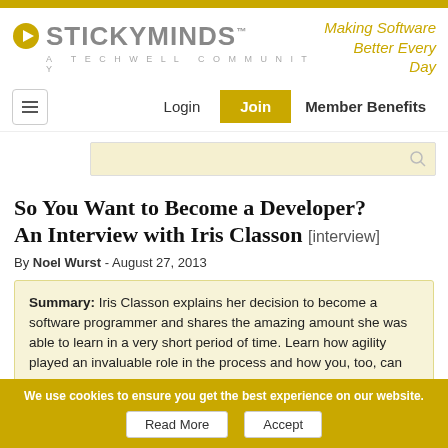[Figure (logo): StickyMinds logo with play button icon and tagline 'Making Software Better Every Day']
Login | Join | Member Benefits
[Figure (other): Search bar with magnifying glass icon]
So You Want to Become a Developer? An Interview with Iris Classon [interview]
By Noel Wurst - August 27, 2013
Summary: Iris Classon explains her decision to become a software programmer and shares the amazing amount she was able to learn in a very short period of time. Learn how agility played an invaluable role in the process and how you, too, can
We use cookies to ensure you get the best experience on our website.